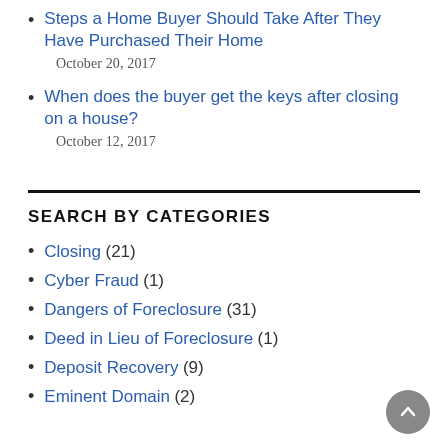Steps a Home Buyer Should Take After They Have Purchased Their Home
October 20, 2017
When does the buyer get the keys after closing on a house?
October 12, 2017
SEARCH BY CATEGORIES
Closing (21)
Cyber Fraud (1)
Dangers of Foreclosure (31)
Deed in Lieu of Foreclosure (1)
Deposit Recovery (9)
Eminent Domain (2)